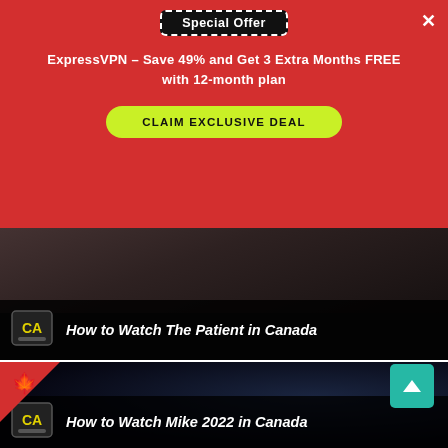Special Offer
ExpressVPN – Save 49% and Get 3 Extra Months FREE with 12-month plan
CLAIM EXCLUSIVE DEAL
[Figure (screenshot): Card link with icon and text: How to Watch The Patient in Canada]
[Figure (photo): Hulu Mike 2022 promotional image showing boxing glove and bird, with Canadian flag corner overlay and title: How to Watch Mike 2022 in Canada]